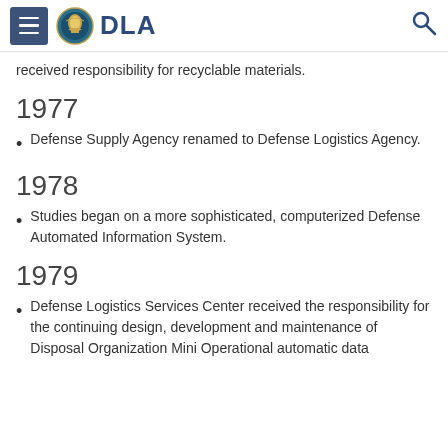DLA
received responsibility for recyclable materials.
1977
Defense Supply Agency renamed to Defense Logistics Agency.
1978
Studies began on a more sophisticated, computerized Defense Automated Information System.
1979
Defense Logistics Services Center received the responsibility for the continuing design, development and maintenance of Disposal Organization Mini Operational automatic data